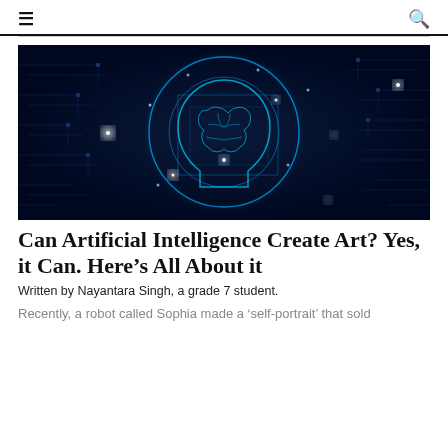≡  🔍
[Figure (illustration): Digital illustration of a glowing blue human brain and head profile outline overlaid on a circuit board background, with concentric glowing blue circles, representing artificial intelligence.]
Can Artificial Intelligence Create Art? Yes, it Can. Here's All About it
Written by Nayantara Singh, a grade 7 student.
Recently, a robot called Sophia made a 'self-portrait' that sold